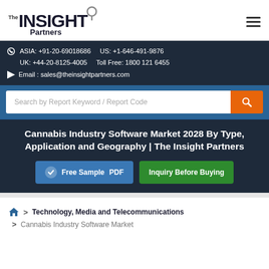[Figure (logo): The Insight Partners logo with magnifying glass icon]
ASIA: +91-20-69018686   US: +1-646-491-9876
UK: +44-20-8125-4005    Toll Free: 1800 121 6455
Email : sales@theinsightpartners.com
Search by Report Keyword / Report Code
Cannabis Industry Software Market 2028 By Type, Application and Geography | The Insight Partners
Free Sample PDF
Inquiry Before Buying
> Technology, Media and Telecommunications
> Cannabis Industry Software Market